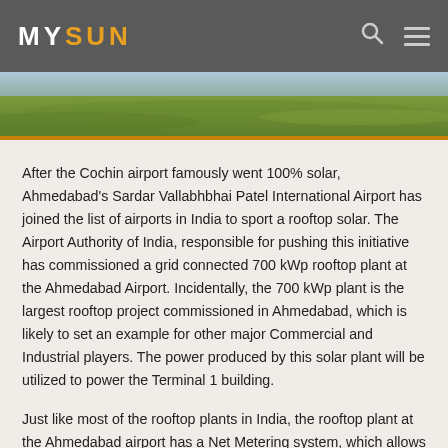MYSUN
[Figure (photo): Aerial view of green agricultural fields, hero banner image]
After the Cochin airport famously went 100% solar, Ahmedabad's Sardar Vallabhbhai Patel International Airport has joined the list of airports in India to sport a rooftop solar. The Airport Authority of India, responsible for pushing this initiative has commissioned a grid connected 700 kWp rooftop plant at the Ahmedabad Airport. Incidentally, the 700 kWp plant is the largest rooftop project commissioned in Ahmedabad, which is likely to set an example for other major Commercial and Industrial players. The power produced by this solar plant will be utilized to power the Terminal 1 building.
Just like most of the rooftop plants in India, the rooftop plant at the Ahmedabad airport has a Net Metering system, which allows all the unutilised power that the system has